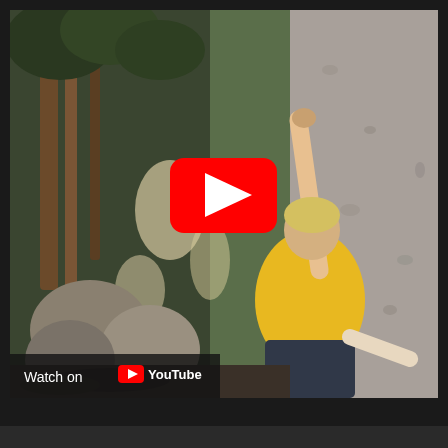[Figure (screenshot): YouTube video thumbnail/embed showing a person in a yellow shirt bouldering (rock climbing without ropes) on a large granite boulder in a forested area. The climber reaches upward with one arm against the rough rock face. Trees and rocks visible in the background. A YouTube play button (red rounded rectangle with white triangle) is overlaid in the center. A 'Watch on YouTube' bar with the YouTube logo appears in the bottom-left corner of the video frame.]